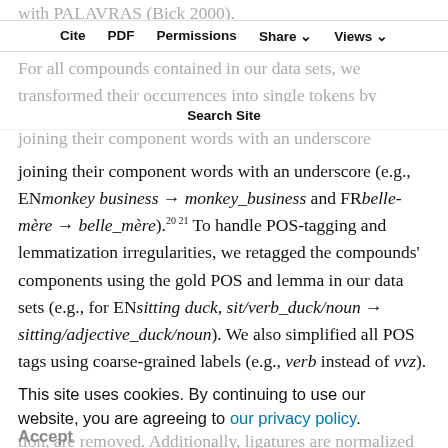with PALAVRAS (Bick 2000).
Cite  PDF  Permissions  Share  Views
For all compounds contained in our data sets, we transformed their occurrences into single tokens by joining their component words with an underscore (e.g., ENmonkey business → monkey_business and FRbelle-mère → belle_mère).²⁰ ²¹ To handle POS-tagging and lemmatization irregularities, we retagged the compounds' components using the gold POS and lemma in our data sets (e.g., for ENsitting duck, sit/verb_duck/noun → sitting/adjective_duck/noun). We also simplified all POS tags using coarse-grained labels (e.g., verb instead of vvz). All forms are then lowercased
(surface forms, lemmas, and POS tags); and noisy tokens with special characters, numbers, etc.
This site uses cookies. By continuing to use our website, you are agreeing to our privacy policy.
Accept
tion, are removed. Additionally, ligatures are normalized for French (e.g., oe → oe) and a